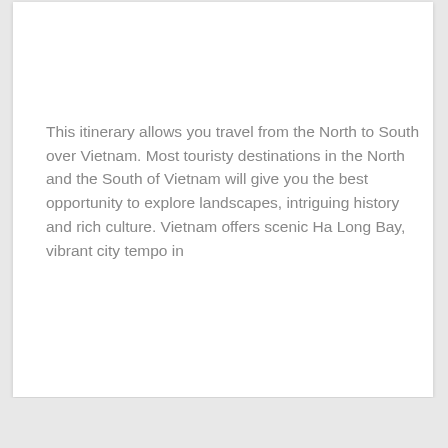This itinerary allows you travel from the North to South over Vietnam. Most touristy destinations in the North and the South of Vietnam will give you the best opportunity to explore landscapes, intriguing history and rich culture. Vietnam offers scenic Ha Long Bay, vibrant city tempo in